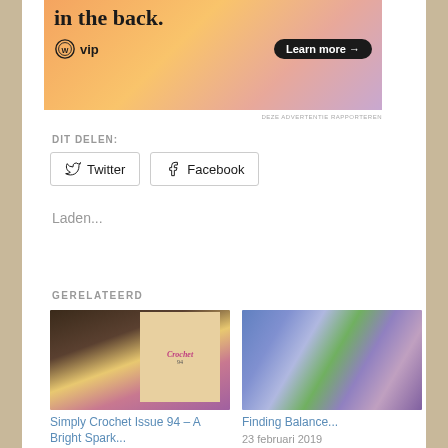[Figure (illustration): WordPress VIP advertisement banner with gradient background (orange, peach, pink, purple). Shows text 'in the back.' at top, WordPress logo with 'vip' text, and a 'Learn more →' button.]
DEZE ADVERTENTIE RAPPORTEREN
DIT DELEN:
Twitter  Facebook
Laden...
GERELATEERD
[Figure (photo): Crochet magazine cover (Simply Crochet Issue 94) with craft items, yarn, and a woman on the cover.]
Simply Crochet Issue 94 – A Bright Spark...
[Figure (photo): Flatlay photo of blue and purple yarn skeins, flowers (hyacinths), and craft supplies on a wooden background.]
Finding Balance...
23 februari 2019